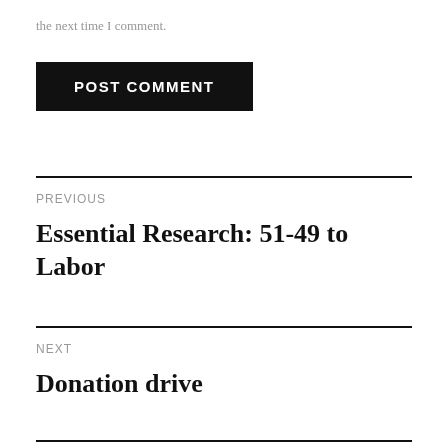the next time I comment.
POST COMMENT
PREVIOUS
Essential Research: 51-49 to Labor
NEXT
Donation drive